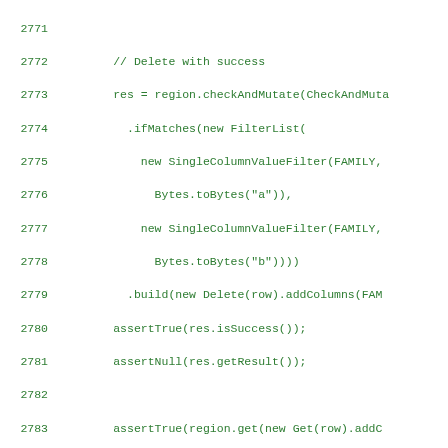[Figure (screenshot): Source code listing in green monospace font on white background, showing Java/HBase code lines 2771-2799 with checkAndMutate, FilterList, SingleColumnValueFilter, Delete, Put, RowMutations operations]